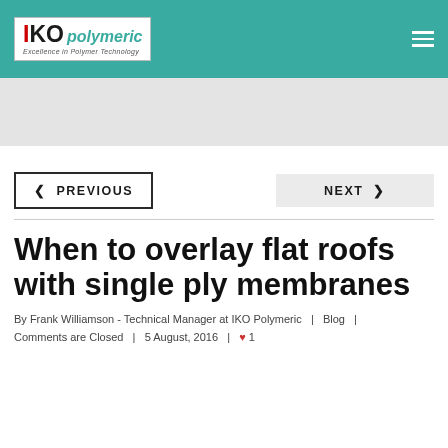IKO polymeric — Excellence in Polymer Technology
[Figure (other): Gray advertisement/banner area]
< PREVIOUS
NEXT >
When to overlay flat roofs with single ply membranes
By Frank Williamson - Technical Manager at IKO Polymeric  |  Blog  |  Comments are Closed  |  5 August, 2016  |  ♥ 1